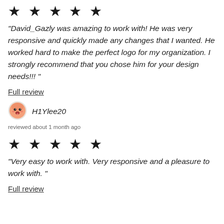★ ★ ★ ★ ★
"David_Gazly was amazing to work with! He was very responsive and quickly made any changes that I wanted. He worked hard to make the perfect logo for my organization. I strongly recommend that you chose him for your design needs!!! "
Full review
[Figure (illustration): Circular avatar icon with cartoon face illustration in red/orange tones]
H1Ylee20
reviewed about 1 month ago
★ ★ ★ ★ ★
"Very easy to work with. Very responsive and a pleasure to work with. "
Full review